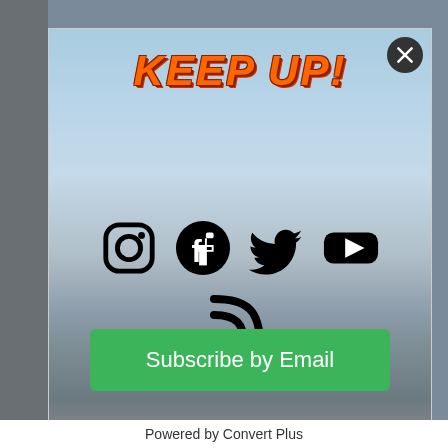[Figure (screenshot): Modal popup overlay on a website showing mountain landscape background with social media icons and subscribe button]
KEEP UP!
[Figure (other): Social media icons: Instagram, Facebook, Twitter, YouTube, RSS]
Subscribe by Email
Powered by Convert Plus